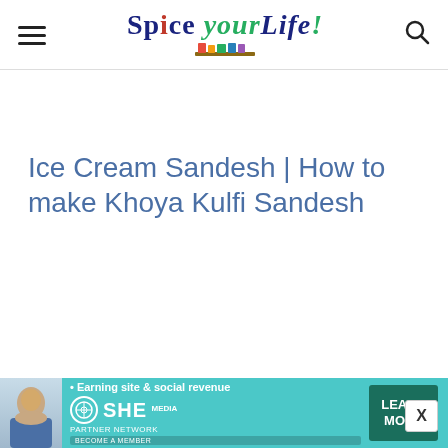Spice your Life!
Ice Cream Sandesh | How to make Khoya Kulfi Sandesh
[Figure (infographic): Advertisement banner for SHE Media Partner Network with a woman photo, tagline 'Earning site & social revenue', SHE logo, and Learn More button]